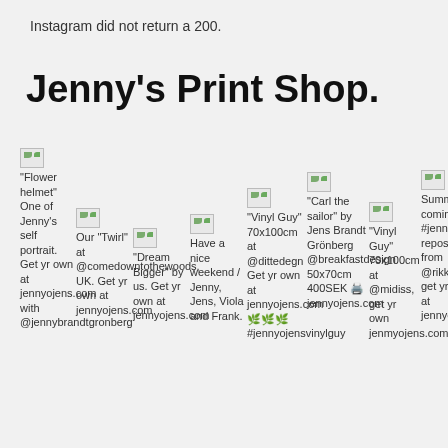Instagram did not return a 200.
Jenny's Print Shop.
[Figure (screenshot): Grid of broken image placeholders with Instagram post captions for Jenny's Print Shop prints, including Flower helmet, Twirl, Dream Bigger, Have a nice weekend, Vinyl Guy, Carl the sailor, Vinyl Guy, Summer is coming.]